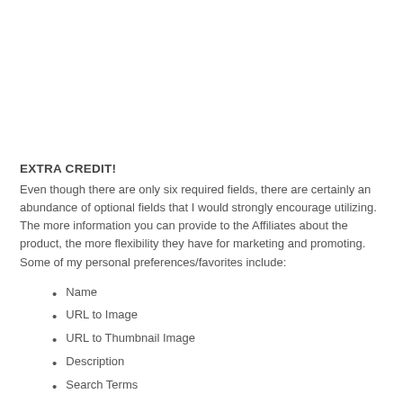EXTRA CREDIT!
Even though there are only six required fields, there are certainly an abundance of optional fields that I would strongly encourage utilizing. The more information you can provide to the Affiliates about the product, the more flexibility they have for marketing and promoting. Some of my personal preferences/favorites include:
Name
URL to Image
URL to Thumbnail Image
Description
Search Terms
Status